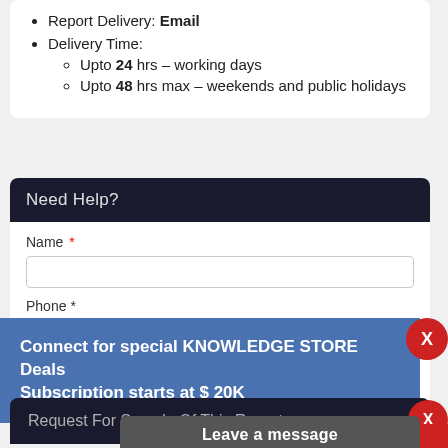Report Delivery: Email
Delivery Time:
Upto 24 hrs - working days
Upto 48 hrs max - weekends and public holidays
Need Help?
Name *
Phone *
Country *
Connect for special KNOWLEDGE STORE Deals Subscription starts at $ 20K
Request For Sample Of This Report
Buy Any Report Avail 20% Code:
Leave a message